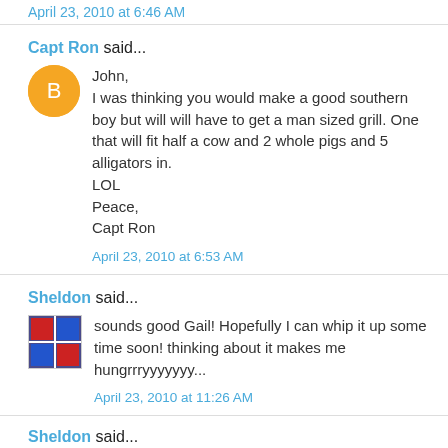April 23, 2010 at 6:46 AM
Capt Ron said...
John,
I was thinking you would make a good southern boy but will will have to get a man sized grill. One that will fit half a cow and 2 whole pigs and 5 alligators in.
LOL
Peace,
Capt Ron
April 23, 2010 at 6:53 AM
Sheldon said...
sounds good Gail! Hopefully I can whip it up some time soon! thinking about it makes me hungrrryyyyyyy...
April 23, 2010 at 11:26 AM
Sheldon said...